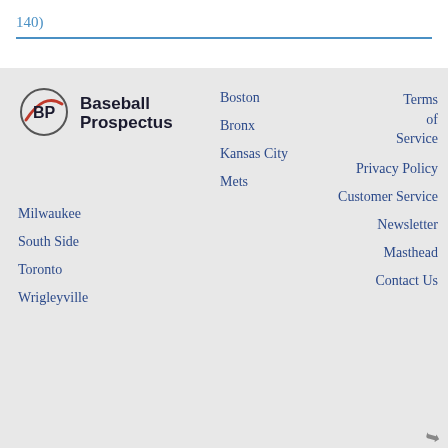140)
[Figure (logo): Baseball Prospectus logo: BP letters in a circle with red swoosh]
Baseball Prospectus
Boston
Bronx
Kansas City
Mets
Milwaukee
South Side
Toronto
Wrigleyville
Terms of Service
Privacy Policy
Customer Service
Newsletter
Masthead
Contact Us